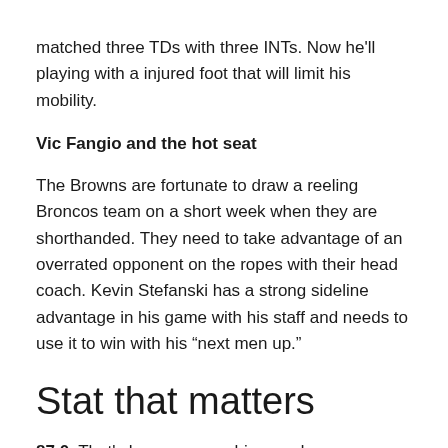matched three TDs with three INTs. Now he'll playing with a injured foot that will limit his mobility.
Vic Fangio and the hot seat
The Browns are fortunate to draw a reeling Broncos team on a short week when they are shorthanded. They need to take advantage of an overrated opponent on the ropes with their head coach. Kevin Stefanski has a strong sideline advantage in his game with his staff and needs to use it to win with his “next men up.”
Stat that matters
87.0. That’s how many rushing yards on average the Browns defense has given up in 2021 over six games, Good for No. 6 in the league. The Broncos have been better, giving up on